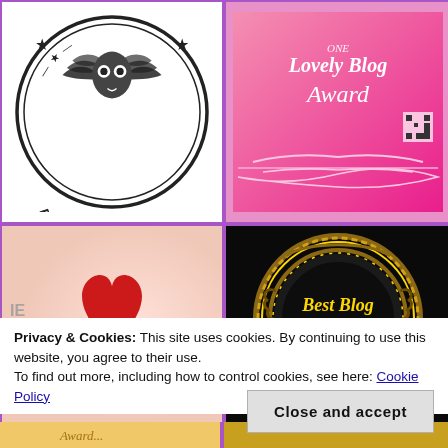[Figure (logo): Book Award Finalist circular badge in black and white with laurel wreath and owl/book design]
[Figure (logo): One Lovely Blog Award badge on pink floral background with ornate decorative border]
[Figure (photo): One Lovely Blog Award text overlay on soft pink background with red heart photograph]
[Figure (logo): Best Blog Awards gold circular medallion on black ornate background]
Privacy & Cookies: This site uses cookies. By continuing to use this website, you agree to their use.
To find out more, including how to control cookies, see here: Cookie Policy
Close and accept